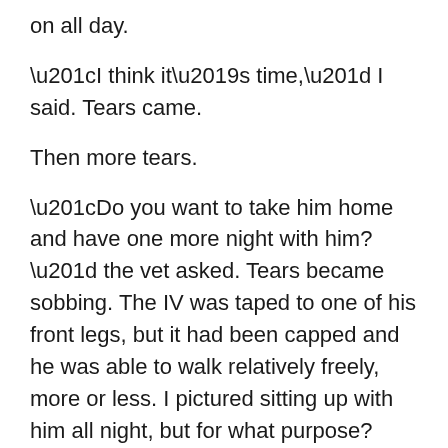on all day.
“I think it’s time,” I said. Tears came.
Then more tears.
“Do you want to take him home and have one more night with him?” the vet asked. Tears became sobbing. The IV was taped to one of his front legs, but it had been capped and he was able to walk relatively freely, more or less. I pictured sitting up with him all night, but for what purpose? Stressing him out by putting him in his carrier to get him home and doing it again the next morning — all while knowing the moments were ticking down until his last breath — wasn’t something that I could do.
I’d never been around when other pets in our family had passed. I was usually living out of state, but might have